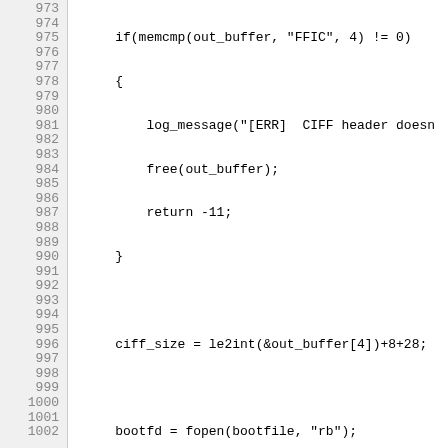Code listing lines 973-1002 showing C source code with line numbers. Code includes memcmp checks, log_message calls, free/return statements, file operations with fopen/fclose, realloc, and a while loop.